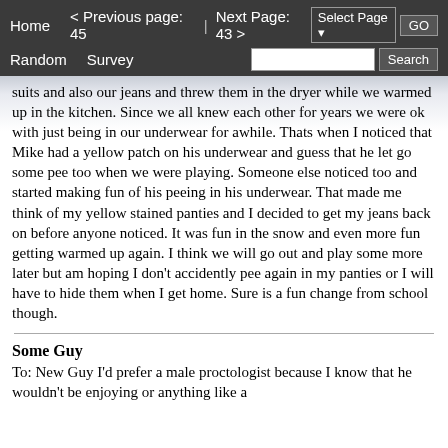Home   < Previous page: 45  |  Next Page: 43 >   Random   Survey   Select Page  GO   Search
suits and also our jeans and threw them in the dryer while we warmed up in the kitchen. Since we all knew each other for years we were ok with just being in our underwear for awhile. Thats when I noticed that Mike had a yellow patch on his underwear and guess that he let go some pee too when we were playing. Someone else noticed too and started making fun of his peeing in his underwear. That made me think of my yellow stained panties and I decided to get my jeans back on before anyone noticed. It was fun in the snow and even more fun getting warmed up again. I think we will go out and play some more later but am hoping I don't accidently pee again in my panties or I will have to hide them when I get home. Sure is a fun change from school though.
Some Guy
To: New Guy I'd prefer a male proctologist because I know that he wouldn't be enjoying or anything like a